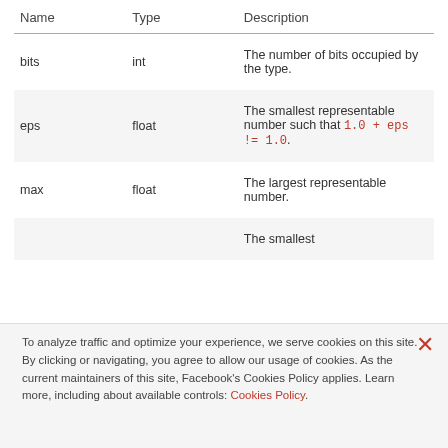| Name | Type | Description |
| --- | --- | --- |
| bits | int | The number of bits occupied by the type. |
| eps | float | The smallest representable number such that 1.0 + eps != 1.0. |
| max | float | The largest representable number. |
|  |  | The smallest |
To analyze traffic and optimize your experience, we serve cookies on this site. By clicking or navigating, you agree to allow our usage of cookies. As the current maintainers of this site, Facebook's Cookies Policy applies. Learn more, including about available controls: Cookies Policy.